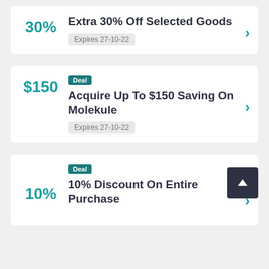30% Extra 30% Off Selected Goods Expires 27-10-22
Deal $150 Acquire Up To $150 Saving On Molekule Expires 27-10-22
Deal 10% 10% Discount On Entire Purchase